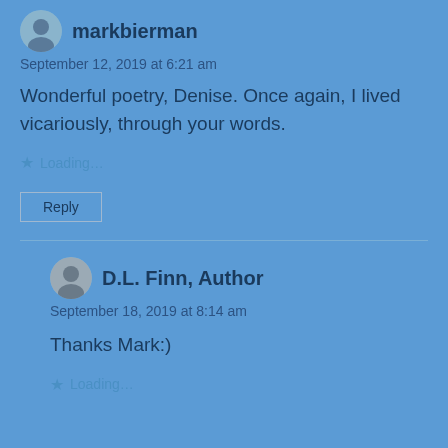markbierman
September 12, 2019 at 6:21 am
Wonderful poetry, Denise. Once again, I lived vicariously, through your words.
Loading...
Reply
D.L. Finn, Author
September 18, 2019 at 8:14 am
Thanks Mark:)
Loading...